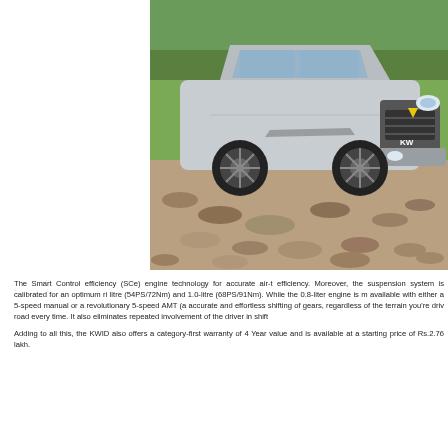[Figure (photo): A silver Renault KWID compact car parked on a rocky terrain with green trees in the background. The car is photographed from a front three-quarter angle showing the grille with Renault logo and 'KW' partial badging visible.]
The Smart Control efficiency (SCe) engine technology for accurate air-t efficiency. Moreover, the suspension system is calibrated for an optimum ri litre (54PS/72Nm) and 1.0-litre (68PS/91Nm). While the 0.8-liter engine is available with either a 5-speed manual or a revolutionary 5-speed AMT (a accurate and effortless shifting of gears, regardless of the terrain you're dri road every time. It also eliminates repeated involvement of the driver in shif
Adding to all this, the KWID also offers a category-first warranty of 4 Year value and is available at a starting price of Rs.2.76 lakh.